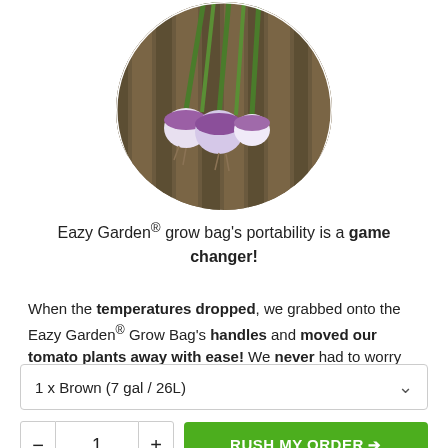[Figure (photo): Circular cropped photo of turnips with green stems on a wooden surface]
Eazy Garden® grow bag's portability is a game changer!
When the temperatures dropped, we grabbed onto the Eazy Garden® Grow Bag's handles and moved our tomato plants away with ease! We never had to worry about cracks from cold temperatures or cracks from it
1 x Brown (7 gal / 26L)
1
RUSH MY ORDER 🡲